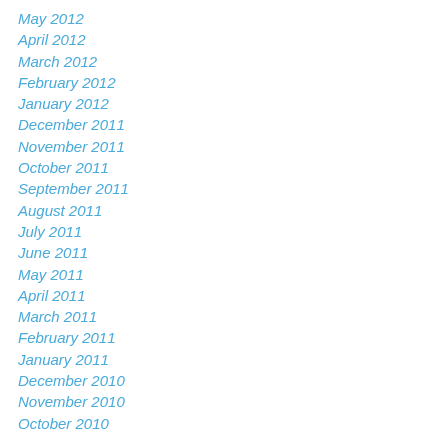May 2012
April 2012
March 2012
February 2012
January 2012
December 2011
November 2011
October 2011
September 2011
August 2011
July 2011
June 2011
May 2011
April 2011
March 2011
February 2011
January 2011
December 2010
November 2010
October 2010